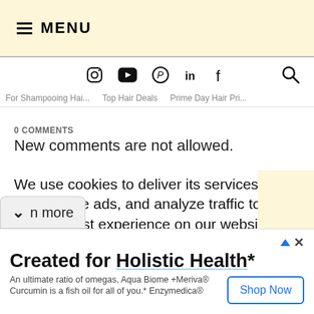≡ MENU
For Shampooing Hai...   Top Hair Deals   Prime Day Hair Pri...
0 COMMENTS
New comments are not allowed.
We use cookies to deliver its services, personalize ads, and analyze traffic to give you the best experience on our website. By using this site, you agree to its use of cookies.
∨ n more
Created for Holistic Health*
An ultimate ratio of omegas, Aqua Biome +Meriva® Curcumin is a fish oil for all of you.* Enzymedica®